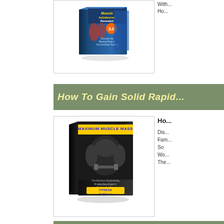[Figure (photo): Book cover: Muscle Imbalances Revealed 3.0 - Discover the Missing Piece in Your Exercise Toolbox]
With... Ho...
How To Gain Solid Rapid...
[Figure (photo): Book cover: Maximum Muscle Mass - The Maximum Bodybuilding Muscle Mass Program To Help You Gain Solid Rapid Weight - Morris Mendez - FitnessAtlantis.com]
Ho...

Dis...
Fam...
So
Wo...
The...
How...